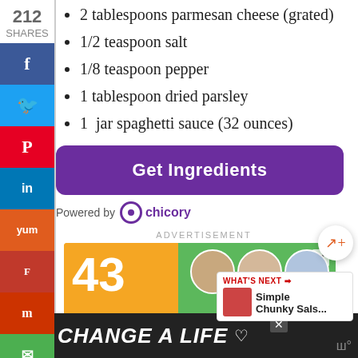2 tablespoons parmesan cheese (grated)
1/2 teaspoon salt
1/8 teaspoon pepper
1 tablespoon dried parsley
1  jar spaghetti sauce (32 ounces)
[Figure (other): Get Ingredients button (purple rounded rectangle)]
Powered by chicory
ADVERTISEMENT
[Figure (other): Advertisement banner: 43 CHILDREN A Day Are Diagnosed with children photos]
[Figure (other): Bottom banner advertisement: CHANGE A LIFE with dog photo]